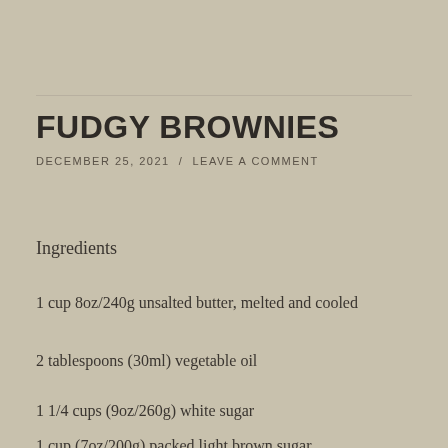FUDGY BROWNIES
DECEMBER 25, 2021  /  LEAVE A COMMENT
Ingredients
1 cup 8oz/240g unsalted butter, melted and cooled
2 tablespoons (30ml) vegetable oil
1 1/4 cups (9oz/260g) white sugar
1 cup (7oz/200g) packed light brown sugar